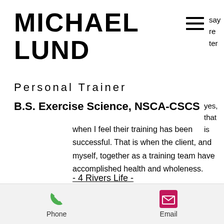MICHAEL LUND
say
re
ter
Personal Trainer
B.S. Exercise Science, NSCA-CSCS
yes,
that is
when I feel their training has been successful. That is when the client, and myself, together as a training team have accomplished health and wholeness.
- 4 Rivers Life -
Training for
Phone   Email